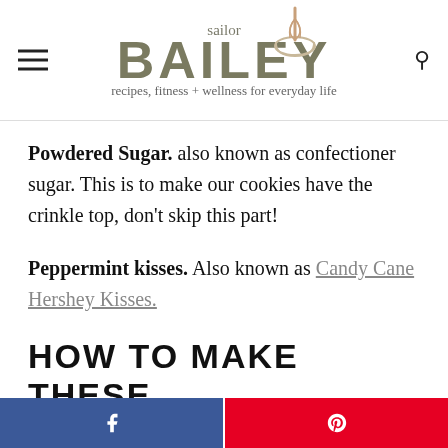[Figure (logo): Sailor Bailey logo with whisk and bowl icon, script font for 'sailor', large bold 'BAILEY', tagline 'recipes, fitness + wellness for everyday life']
Powdered Sugar. also known as confectioner sugar. This is to make our cookies have the crinkle top, don't skip this part!
Peppermint kisses. Also known as Candy Cane Hershey Kisses.
HOW TO MAKE THESE
[Figure (infographic): Two social share buttons side by side: Facebook (blue) and Pinterest (red/pink)]